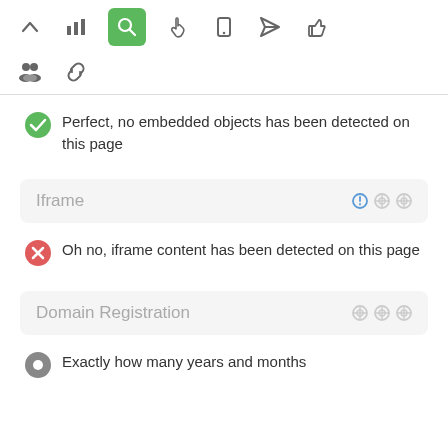[Figure (screenshot): Top navigation toolbar with icons: chevron-up, bar-chart, search (active/green), hand pointer, mobile, send, thumbs-up]
[Figure (screenshot): Secondary toolbar row with people icon and chain-link icon]
Perfect, no embedded objects has been detected on this page
Iframe
Oh no, iframe content has been detected on this page
Domain Registration
Exactly how many years and months